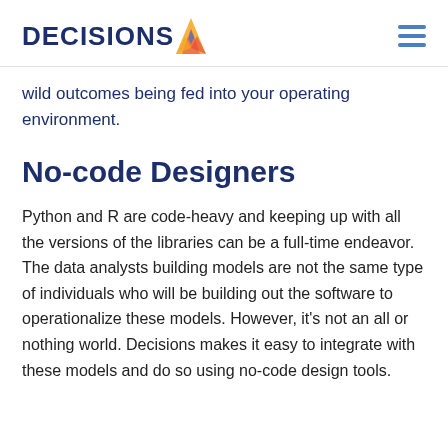DECISIONS
wild outcomes being fed into your operating environment.
No-code Designers
Python and R are code-heavy and keeping up with all the versions of the libraries can be a full-time endeavor. The data analysts building models are not the same type of individuals who will be building out the software to operationalize these models. However, it's not an all or nothing world. Decisions makes it easy to integrate with these models and do so using no-code design tools.